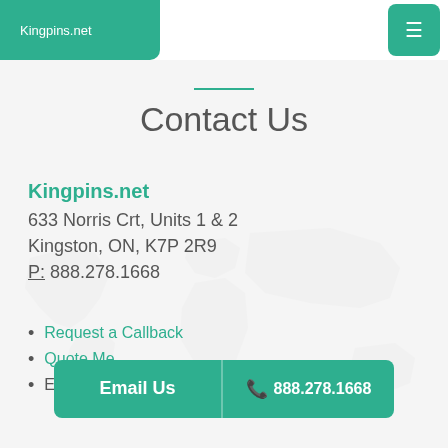Kingpins.net
Contact Us
Kingpins.net
633 Norris Crt, Units 1 & 2
Kingston, ON, K7P 2R9
P: 888.278.1668
Request a Callback
Quote Me
Email: nicole.halladay@kingpins.net
Email Us
888.278.1668